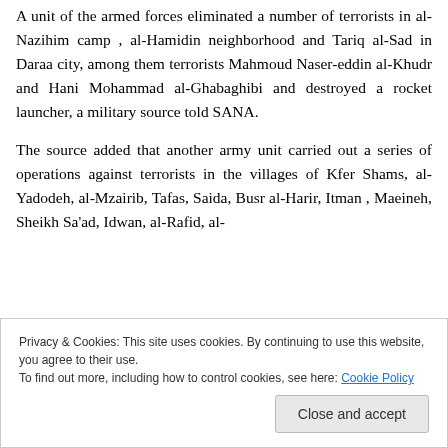A unit of the armed forces eliminated a number of terrorists in al-Nazihim camp , al-Hamidin neighborhood and Tariq al-Sad in Daraa city, among them terrorists Mahmoud Naser-eddin al-Khudr and Hani Mohammad al-Ghabaghibi and destroyed a rocket launcher, a military source told SANA.
The source added that another army unit carried out a series of operations against terrorists in the villages of Kfer Shams, al-Yadodeh, al-Mzairib, Tafas, Saida, Busr al-Harir, Itman , Maeineh, Sheikh Sa'ad, Idwan, al-Rafid, al-Hair and Zaber and also al-Muleiha in Daraa countryside,
Privacy & Cookies: This site uses cookies. By continuing to use this website, you agree to their use.
To find out more, including how to control cookies, see here: Cookie Policy